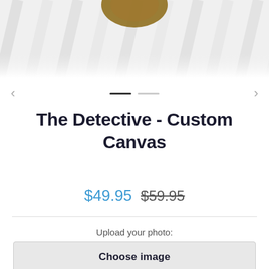[Figure (photo): Partial product photo showing bottom of a shoe on a white wood plank floor, image is cropped at top]
[Figure (infographic): Carousel navigation with left arrow, two indicator dashes (one dark, one light), and right arrow]
The Detective - Custom Canvas
$49.95  $59.95
Upload your photo:
Choose image
See Photo Guide